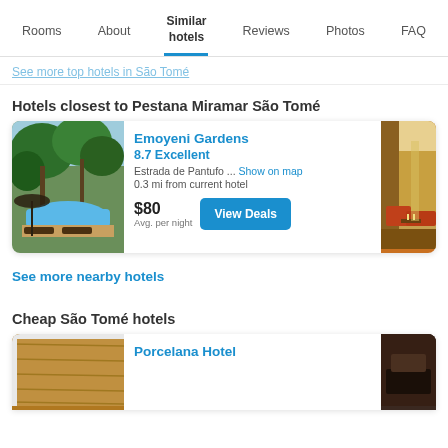Rooms | About | Similar hotels | Reviews | Photos | FAQ
See more top hotels in São Tomé
Hotels closest to Pestana Miramar São Tomé
[Figure (photo): Hotel pool area with tropical greenery and umbrella]
Emoyeni Gardens
8.7 Excellent
Estrada de Pantufo ... Show on map
0.3 mi from current hotel
$80 Avg. per night
[Figure (photo): Hotel interior with orange sofas and warm lighting]
See more nearby hotels
Cheap São Tomé hotels
[Figure (photo): Wooden table or floor surface]
Porcelana Hotel
[Figure (photo): Dark hotel interior]